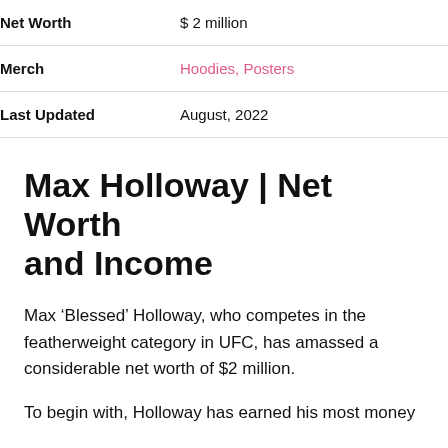| Field | Value |
| --- | --- |
| Net Worth | $ 2 million |
| Merch | Hoodies, Posters |
| Last Updated | August, 2022 |
Max Holloway | Net Worth and Income
Max ‘Blessed’ Holloway, who competes in the featherweight category in UFC, has amassed a considerable net worth of $2 million.
To begin with, Holloway has earned his most money